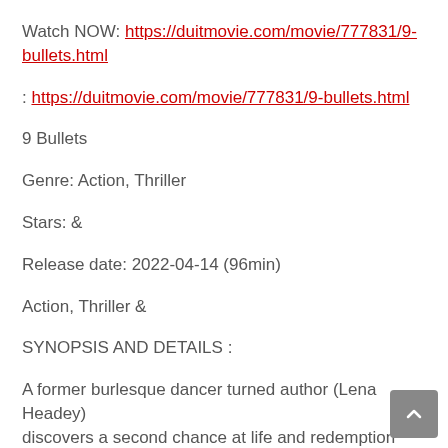Watch NOW: https://duitmovie.com/movie/777831/9-bullets.html
: https://duitmovie.com/movie/777831/9-bullets.html
9 Bullets
Genre: Action, Thriller
Stars: &
Release date: 2022-04-14 (96min)
Action, Thriller &
SYNOPSIS AND DETAILS :
A former burlesque dancer turned author (Lena Headey) discovers a second chance at life and redemption when